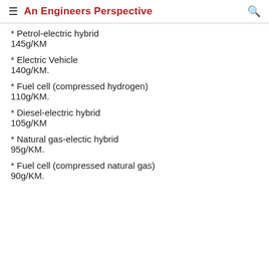An Engineers Perspective
* Petrol-electric hybrid
145g/KM
* Electric Vehicle
140g/KM.
* Fuel cell (compressed hydrogen)
110g/KM.
* Diesel-electric hybrid
105g/KM
* Natural gas-electic hybrid
95g/KM.
* Fuel cell (compressed natural gas)
90g/KM.